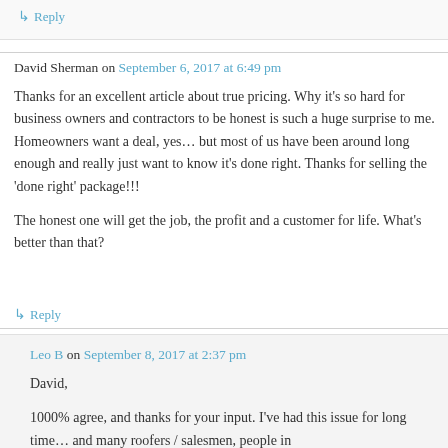↳ Reply
David Sherman on September 6, 2017 at 6:49 pm
Thanks for an excellent article about true pricing. Why it's so hard for business owners and contractors to be honest is such a huge surprise to me. Homeowners want a deal, yes… but most of us have been around long enough and really just want to know it's done right. Thanks for selling the 'done right' package!!!
The honest one will get the job, the profit and a customer for life. What's better than that?
↳ Reply
Leo B on September 8, 2017 at 2:37 pm
David,
1000% agree, and thanks for your input. I've had this issue for long time… and many roofers / salesmen, people in